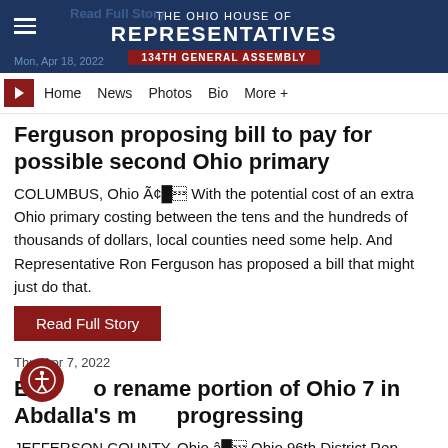THE OHIO HOUSE OF REPRESENTATIVES 134TH GENERAL ASSEMBLY
Mon, Apr 18, 2022
Home  News  Photos  Bio  More +
Ferguson proposing bill to pay for possible second Ohio primary
COLUMBUS, Ohio Ã¢â– With the potential cost of an extra Ohio primary costing between the tens and the hundreds of thousands of dollars, local counties need some help. And Representative Ron Ferguson has proposed a bill that might just do that.
Read Full Story
Thu, Apr 7, 2022
Efforts to rename portion of Ohio 7 in Abdalla's memory progressing
JEFFERSON COUNTY, Ohio â– Ohio 96th District Rep.